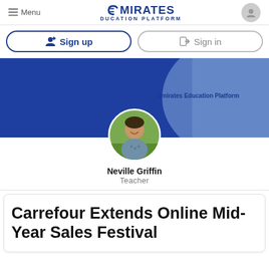Menu | Emirates Education Platform
Sign up | Sign in
[Figure (screenshot): Emirates Education Platform banner with blue gradient background and circular profile photo of Neville Griffin, a young man smiling outdoors]
Emirates Education Platform
Neville Griffin
Teacher
Carrefour Extends Online Mid-Year Sales Festival